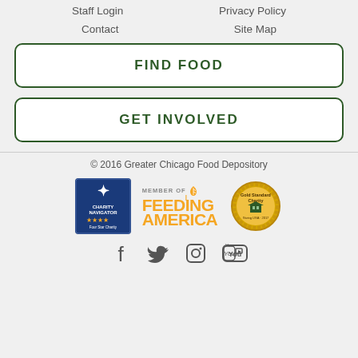Staff Login
Privacy Policy
Contact
Site Map
FIND FOOD
GET INVOLVED
© 2016 Greater Chicago Food Depository
[Figure (logo): Charity Navigator Four Star Charity badge, Member of Feeding America logo, Gold Standard Charity badge]
[Figure (logo): Social media icons: Facebook, Twitter, Instagram, YouTube]